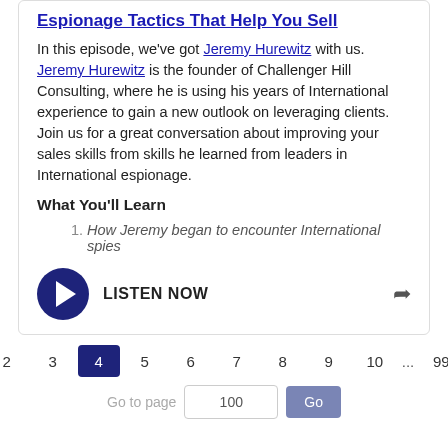Espionage Tactics That Help You Sell
In this episode, we've got Jeremy Hurewitz with us. Jeremy Hurewitz is the founder of Challenger Hill Consulting, where he is using his years of International experience to gain a new outlook on leveraging clients. Join us for a great conversation about improving your sales skills from skills he learned from leaders in International espionage.
What You'll Learn
How Jeremy began to encounter International spies
LISTEN NOW
< 1 2 3 4 5 6 7 8 9 10 ... 99 100 > Go to page 100 Go